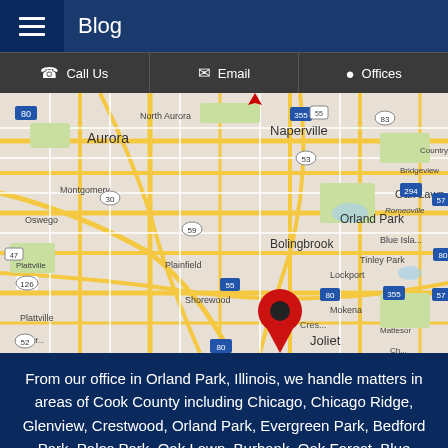Blog
Call Us | Email | Offices
[Figure (map): Google Maps view showing Chicagoland area with a red location pin placed on Joliet, Illinois. Visible cities include Aurora, Naperville, Bolingbrook, Romeoville, Plainfield, Orland Park, Lockport, Joliet, Tinley Park, Mokena, Oak Lawn, Bridgeview, and others.]
From our office in Orland Park, Illinois, we handle matters in areas of Cook County including Chicago, Chicago Ridge, Glenview, Crestwood, Orland Park, Evergreen Park, Bedford Park, Palos Park, Oak Lawn, Burbank, Oak Forest, Blue Island, Elmhurst, Palos Heights, Palos Hills, Alain, Bridgeview, Lamont, Orland Hills, Country Club Hills, Hickory...